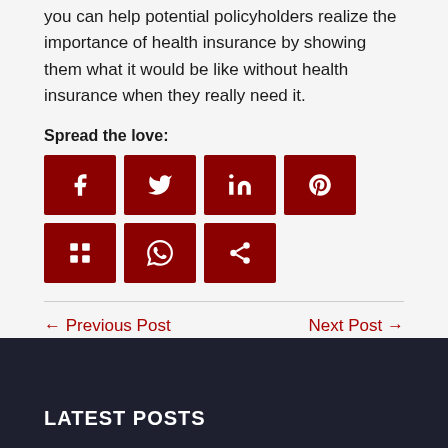you can help potential policyholders realize the importance of health insurance by showing them what it would be like without health insurance when they really need it.
Spread the love:
[Figure (other): Social sharing buttons: Facebook, Twitter, LinkedIn, Pinterest, Mix, WhatsApp, Share]
← Previous Post
Next Post →
LATEST POSTS